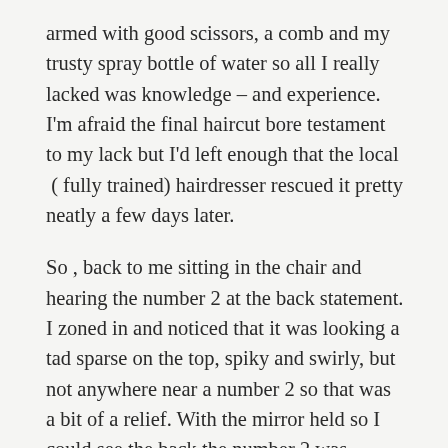armed with good scissors, a comb and my trusty spray bottle of water so all I really lacked was knowledge – and experience. I'm afraid the final haircut bore testament to my lack but I'd left enough that the local  ( fully trained) hairdresser rescued it pretty neatly a few days later.
So , back to me sitting in the chair and hearing the number 2 at the back statement. I zoned in and noticed that it was looking a tad sparse on the top, spiky and swirly, but not anywhere near a number 2 so that was a bit of a relief. With the mirror held so I could see the back the number 2 was evident. I was a bit surprised at how acquiescent I'd been during the whole cut – I think a spot of hypnosis might have been employed – but I had asked for a short cut and there was no denying it was a short cut!